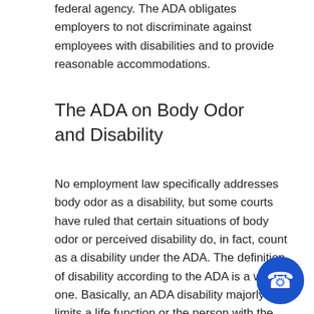federal agency. The ADA obligates employers to not discriminate against employees with disabilities and to provide reasonable accommodations.
The ADA on Body Odor and Disability
No employment law specifically addresses body odor as a disability, but some courts have ruled that certain situations of body odor or perceived disability do, in fact, count as a disability under the ADA. The definition of disability according to the ADA is a wide one. Basically, an ADA disability majorly limits a life function or the person with the
[Figure (other): Blue circular phone/call button in the bottom-right corner]